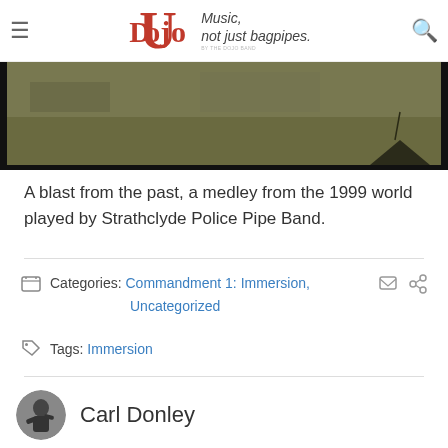Dojo U — Music, not just bagpipes.
[Figure (photo): Screenshot/still frame from a video showing a grass field scene, likely a pipe band competition, with a tent or flag shape visible in the lower right.]
A blast from the past, a medley from the 1999 world played by Strathclyde Police Pipe Band.
Categories: Commandment 1: Immersion, Uncategorized
Tags: Immersion
Carl Donley